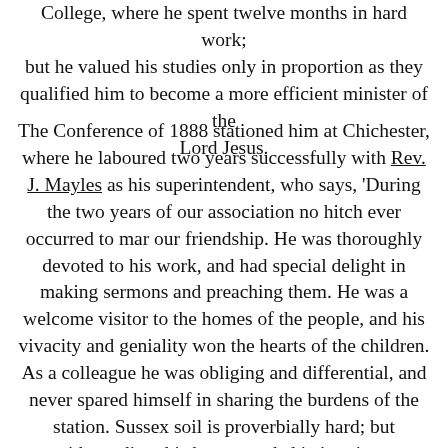College, where he spent twelve months in hard work; but he valued his studies only in proportion as they qualified him to become a more efficient minister of the Lord Jesus.
The Conference of 1888 stationed him at Chichester, where he laboured two years successfully with Rev. J. Mayles as his superintendent, who says, 'During the two years of our association no hitch ever occurred to mar our friendship. He was thoroughly devoted to his work, and had special delight in making sermons and preaching them. He was a welcome visitor to the homes of the people, and his vivacity and geniality won the hearts of the children. As a colleague he was obliging and differential, and never spared himself in sharing the burdens of the station. Sussex soil is proverbially hard; but notwithstanding this he succeeded in 'turning men from darkness to light, and from the power of Satan